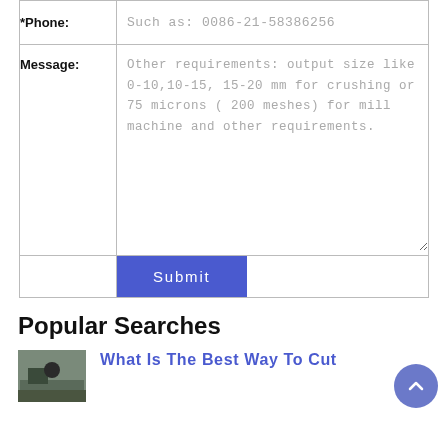| Field | Input |
| --- | --- |
| *Phone: | Such as: 0086-21-58386256 |
| Message: | Other requirements: output size like 0-10,10-15, 15-20 mm for crushing or 75 microns ( 200 meshes) for mill machine and other requirements. |
|  | Submit |
Popular Searches
What Is The Best Way To Cut